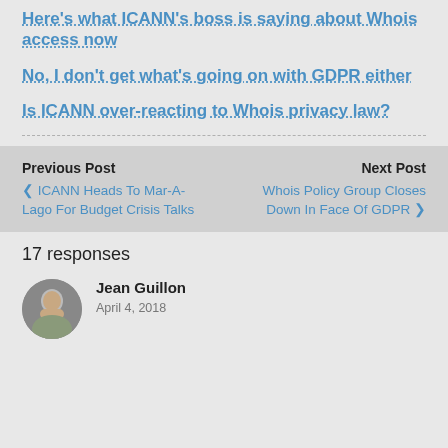Here’s what ICANN’s boss is saying about Whois access now
No, I don’t get what’s going on with GDPR either
Is ICANN over-reacting to Whois privacy law?
Previous Post ‹ ICANN Heads To Mar-A-Lago For Budget Crisis Talks | Next Post Whois Policy Group Closes Down In Face Of GDPR ›
17 responses
Jean Guillon
April 4, 2018